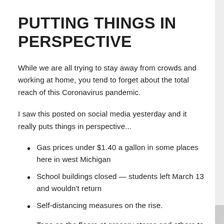PUTTING THINGS IN PERSPECTIVE
While we are all trying to stay away from crowds and working at home, you tend to forget about the total reach of this Coronavirus pandemic.
I saw this posted on social media yesterday and it really puts things in perspective...
Gas prices under $1.40 a gallon in some places here in west Michigan
School buildings closed — students left March 13 and wouldn't return
Self-distancing measures on the rise.
Tape on the floors at grocery stores and others to help distance shoppers (6 ft.) from each other